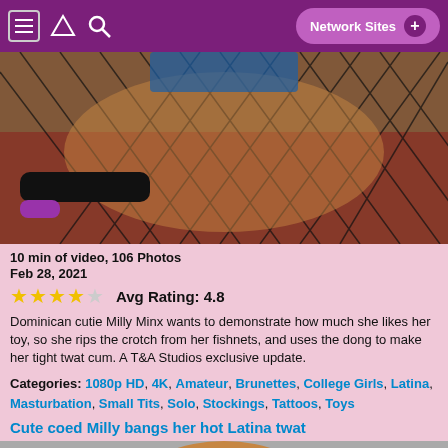Network Sites +
[Figure (photo): Close-up photo of a woman in fishnet stockings on a red surface]
10 min of video, 106 Photos
Feb 28, 2021
Avg Rating: 4.8
Dominican cutie Milly Minx wants to demonstrate how much she likes her toy, so she rips the crotch from her fishnets, and uses the dong to make her tight twat cum. A T&A Studios exclusive update.
Categories: 1080p HD, 4K, Amateur, Brunettes, College Girls, Latina, Masturbation, Small Tits, Solo, Stockings, Tattoos, Toys
Cute coed Milly bangs her hot Latina twat
[Figure (photo): Partial thumbnail of next content item]